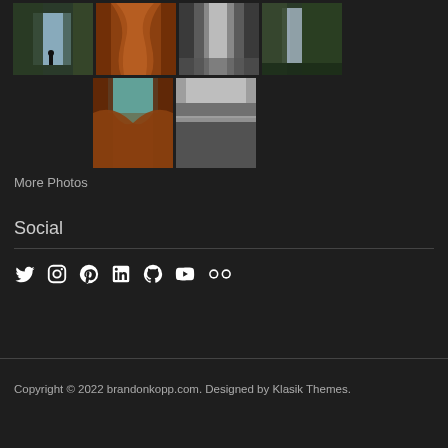[Figure (photo): Grid of 6 nature/landscape photography thumbnails: waterfall with person, orange sandstone canyon, black and white waterfall, green forest waterfall, canyon with blue sky, wide black and white waterfall]
More Photos
Social
[Figure (infographic): Social media icons: Twitter, Instagram, Pinterest, LinkedIn, GitHub, YouTube, Flickr]
Copyright © 2022 brandonkopp.com. Designed by Klasik Themes.